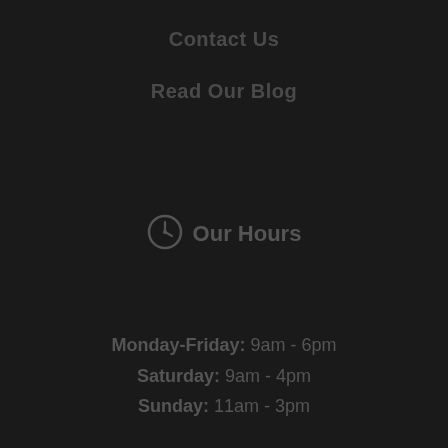Contact Us
Read Our Blog
Our Hours
Monday-Friday: 9am - 6pm
Saturday: 9am - 4pm
Sunday: 11am - 3pm